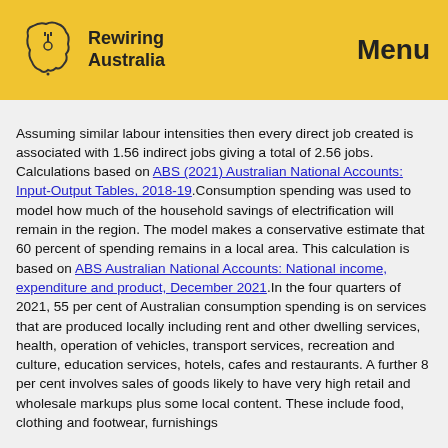Rewiring Australia | Menu
Assuming similar labour intensities then every direct job created is associated with 1.56 indirect jobs giving a total of 2.56 jobs. Calculations based on ABS (2021) Australian National Accounts: Input-Output Tables, 2018-19.Consumption spending was used to model how much of the household savings of electrification will remain in the region. The model makes a conservative estimate that 60 percent of spending remains in a local area. This calculation is based on ABS Australian National Accounts: National income, expenditure and product, December 2021.In the four quarters of 2021, 55 per cent of Australian consumption spending is on services that are produced locally including rent and other dwelling services, health, operation of vehicles, transport services, recreation and culture, education services, hotels, cafes and restaurants. A further 8 per cent involves sales of goods likely to have very high retail and wholesale markups plus some local content. These include food, clothing and footwear, furnishings